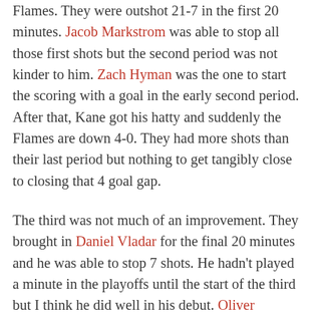Flames. They were outshot 21-7 in the first 20 minutes. Jacob Markstrom was able to stop all those first shots but the second period was not kinder to him. Zach Hyman was the one to start the scoring with a goal in the early second period. After that, Kane got his hatty and suddenly the Flames are down 4-0. They had more shots than their last period but nothing to get tangibly close to closing that 4 goal gap.
The third was not much of an improvement. They brought in Daniel Vladar for the final 20 minutes and he was able to stop 7 shots. He hadn't played a minute in the playoffs until the start of the third but I think he did well in his debut. Oliver Kylington did manage to get a goal on the board but in a good close to the period...